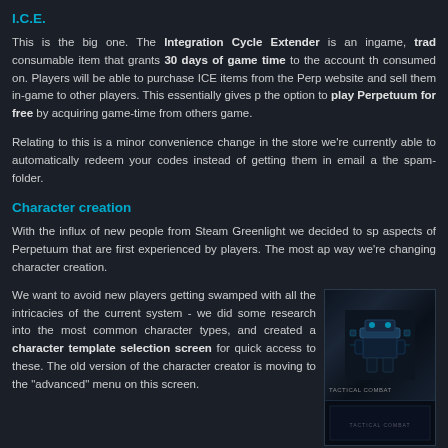I.C.E.
This is the big one. The Integration Cycle Extender is an ingame, trad consumable item that grants 30 days of game time to the account th consumed on. Players will be able to purchase ICE items from the Perp website and sell them in-game to other players. This essentially gives p the option to play Perpetuum for free by acquiring game-time from others game.
Relating to this is a minor convenience change in the store we're currently able to automatically redeem your codes instead of getting them in email a the spam-folder.
Character creation
With the influx of new people from Steam Greenlight we decided to sp aspects of Perpetuum that are first experienced by players. The most ap way we're changing character creation.
We want to avoid new players getting swamped with all the intricacies of the current system - we did some research into the most common character types, and created a character template selection screen for quick access to these. The old version of the character creator is moving to the "advanced" menu on this screen.
[Figure (photo): Game screenshot showing a robot/mech character with TACTICAL COMBAT label]
Amazon Kickstarter